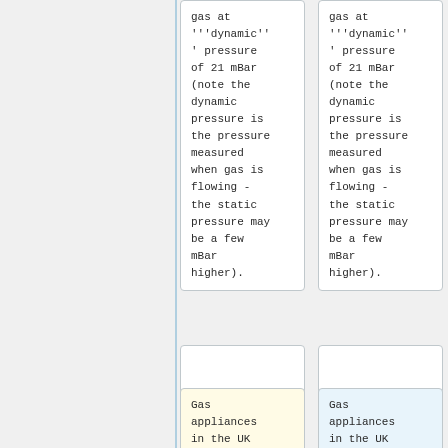gas at '''dynamic''' pressure of 21 mBar (note the dynamic pressure is the pressure measured when gas is flowing - the static pressure may be a few mBar higher).
gas at '''dynamic''' pressure of 21 mBar (note the dynamic pressure is the pressure measured when gas is flowing - the static pressure may be a few mBar higher).
Gas appliances in the UK
Gas appliances in the UK